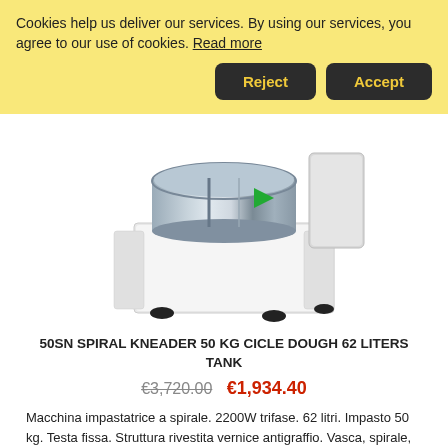Cookies help us deliver our services. By using our services, you agree to our use of cookies. Read more
[Figure (photo): Partial view of a white commercial spiral kneader/dough mixer machine with stainless steel bowl, showing the lower body and base with rubber feet]
50SN SPIRAL KNEADER 50 KG CICLE DOUGH 62 LITERS TANK
€3,720.00  €1,934.40
Macchina impastatrice a spirale. 2200W trifase. 62 litri. Impasto 50 kg. Testa fissa. Struttura rivestita vernice antigraffio. Vasca, spirale, asta, coperchio grigliato in acciaio inox. dim. 92x53x92-135h cm - 220/400V, 3PH